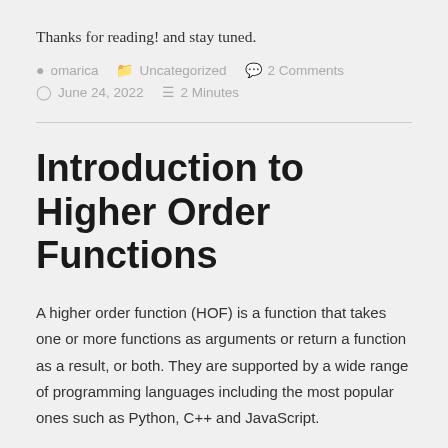Thanks for reading! and stay tuned.
omarica   Uncategorized   2 Comments   June 24, 2022   2 Minutes
Introduction to Higher Order Functions
A higher order function (HOF) is a function that takes one or more functions as arguments or return a function as a result, or both. They are supported by a wide range of programming languages including the most popular ones such as Python, C++ and JavaScript.